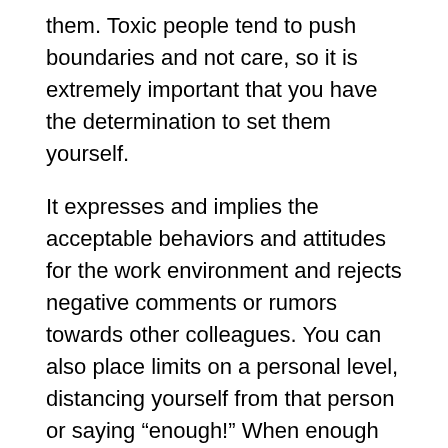them. Toxic people tend to push boundaries and not care, so it is extremely important that you have the determination to set them yourself.
It expresses and implies the acceptable behaviors and attitudes for the work environment and rejects negative comments or rumors towards other colleagues. You can also place limits on a personal level, distancing yourself from that person or saying “enough!” When enough of complaints
Don’t Take Anything Personally.
Keep in mind that toxic people are like that with everyone and that it is not exclusively for you, therefore, avoid taking bad comments or complaints towards you very personally. Remember that these kinds of people tend to feel victims of anything, even if the mistake was on their part and